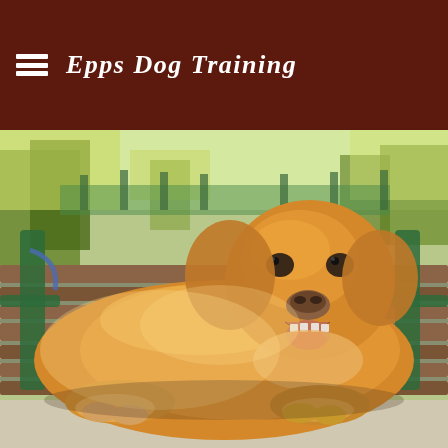Epps Dog Training
[Figure (photo): A golden/yellow Labrador Retriever dog lying on a wooden park bench with green metal armrests, looking up at the camera with mouth open. Park background with trees and playground equipment visible.]